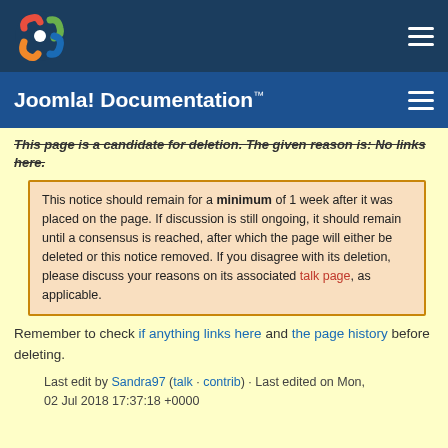Joomla! Documentation™
This page is a candidate for deletion. The given reason is: No links here.
This notice should remain for a minimum of 1 week after it was placed on the page. If discussion is still ongoing, it should remain until a consensus is reached, after which the page will either be deleted or this notice removed. If you disagree with its deletion, please discuss your reasons on its associated talk page, as applicable.
Remember to check if anything links here and the page history before deleting.
Last edit by Sandra97 (talk · contrib) · Last edited on Mon, 02 Jul 2018 17:37:18 +0000